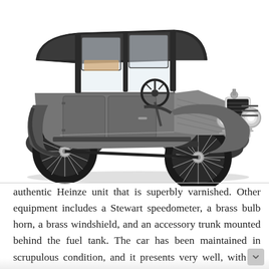[Figure (illustration): Illustration of a vintage Ford Model T coupe, gray body with black wheels, brass headlamps, and a black roof, shown in three-quarter front view on a white background. A hamburger menu icon (three horizontal lines) appears in the upper right area.]
authentic Heinze unit that is superbly varnished. Other equipment includes a Stewart speedometer, a brass bulb horn, a brass windshield, and an accessory trunk mounted behind the fuel tank. The car has been maintained in scrupulous condition, and it presents very well, with its brass highly polished and its sheet metal